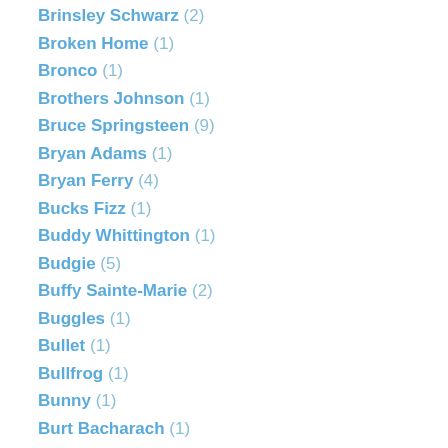Brinsley Schwarz (2)
Broken Home (1)
Bronco (1)
Brothers Johnson (1)
Bruce Springsteen (9)
Bryan Adams (1)
Bryan Ferry (4)
Bucks Fizz (1)
Buddy Whittington (1)
Budgie (5)
Buffy Sainte-Marie (2)
Buggles (1)
Bullet (1)
Bullfrog (1)
Bunny (1)
Burt Bacharach (1)
Business (1)
Buxton Festival (4)
Buzz (1)
Buzzcocks (3)